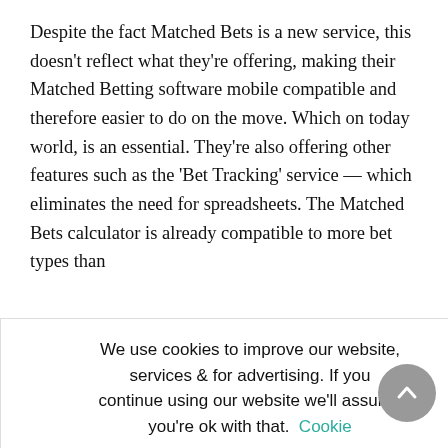Despite the fact Matched Bets is a new service, this doesn't reflect what they're offering, making their Matched Betting software mobile compatible and therefore easier to do on the move. Which on today world, is an essential. They're also offering other features such as the 'Bet Tracking' service — which eliminates the need for spreadsheets. The Matched Bets calculator is already compatible to more bet types than
s is a wise or. Customers ervice. Matched bscription price subscription of e annual
[Figure (screenshot): Cookie consent overlay with text: 'We use cookies to improve our website, services & for advertising. If you continue using our website we'll assume you're ok with that. Cookie settings' and buttons: Accept, Reject]
subscription, as that's just £8.25 per month. You'll make back